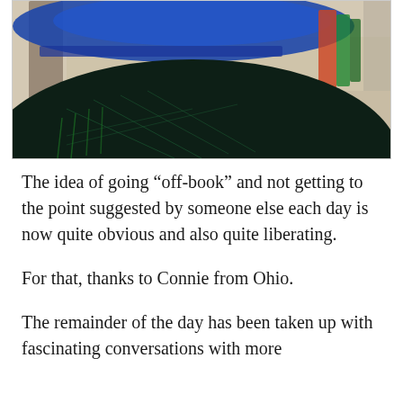[Figure (photo): Overhead view of a large dark woven hammock with blue and green/orange fringe, hanging in an open-air space with a sandy/concrete floor and stone column visible.]
The idea of going “off-book” and not getting to the point suggested by someone else each day is now quite obvious and also quite liberating.
For that, thanks to Connie from Ohio.
The remainder of the day has been taken up with fascinating conversations with more